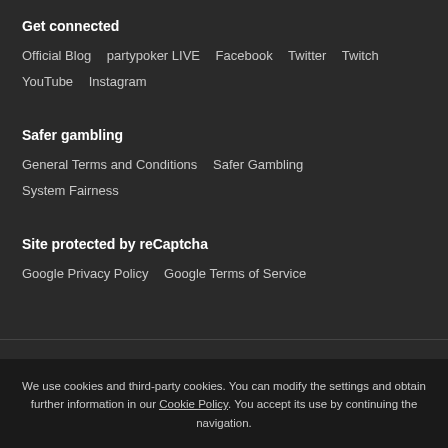Get connected
Official Blog
partypoker LIVE
Facebook
Twitter
Twitch
YouTube
Instagram
Safer gambling
General Terms and Conditions
Safer Gambling
System Fairness
Site protected by reCaptcha
Google Privacy Policy
Google Terms of Service
We use cookies and third-party cookies. You can modify the settings and obtain further information in our Cookie Policy. You accept its use by continuing the navigation.